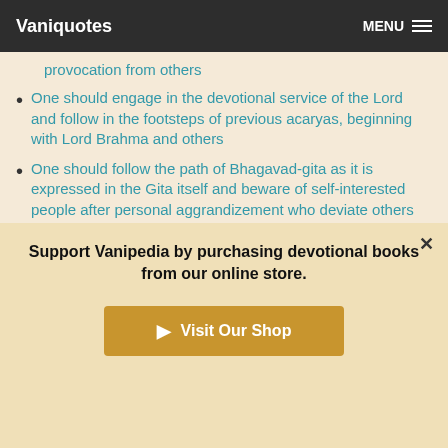Vaniquotes | MENU
provocation from others
One should engage in the devotional service of the Lord and follow in the footsteps of previous acaryas, beginning with Lord Brahma and others
One should follow the path of Bhagavad-gita as it is expressed in the Gita itself and beware of self-interested people after personal aggrandizement who deviate others from the actual path. BG 1972 purports
One should know that Krsna's activities are different from others. The best policy is to follow the principles of Krsna; that will make one perfect. BG 1972 purports
Support Vanipedia by purchasing devotional books from our online store.
Visit Our Shop